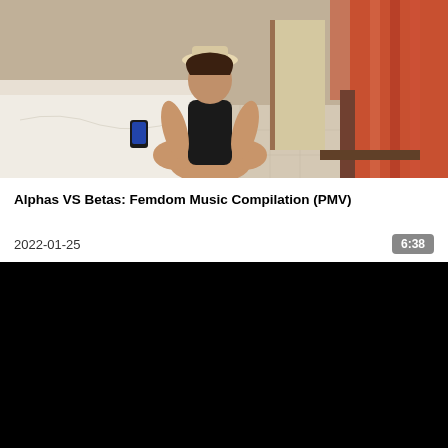[Figure (photo): Video thumbnail showing a person in a black swimsuit and white hat sitting on a bed in a hotel-like room with orange curtains on the right side]
Alphas VS Betas: Femdom Music Compilation (PMV)
2022-01-25
6:38
[Figure (screenshot): Black video player frame]